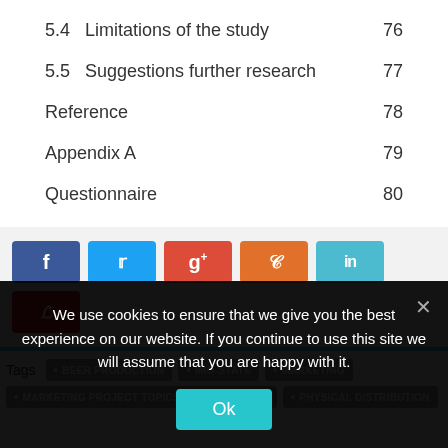5.4  Limitations of the study  76
5.5  Suggestions further research  77
Reference  78
Appendix A  79
Questionnaire  80
[Figure (other): Social share buttons: Facebook, Twitter, Google+, StumbleUpon, LinkedIn, Pinterest]
Tags  • BEER PRODUCTION  • IMO-STATE  • MARKETING  • MARKETING PROJECT TOPICS AND MATERIALS  • PHYSICAL DISTRIBUTION
We use cookies to ensure that we give you the best experience on our website. If you continue to use this site we will assume that you are happy with it.